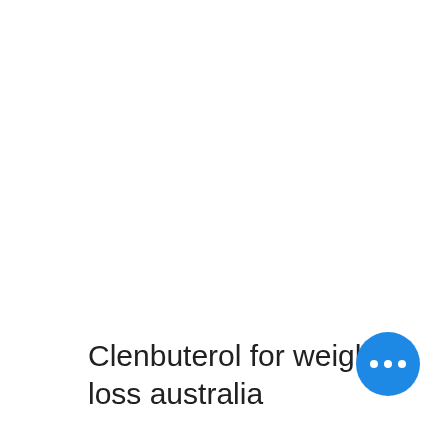Clenbuterol for weight loss australia
[Figure (other): Blue circular button with three white horizontal dots (more/options button)]